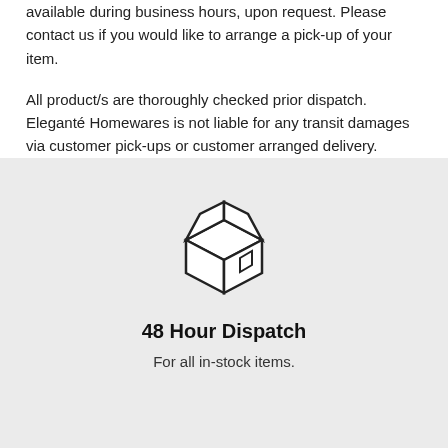available during business hours, upon request. Please contact us if you would like to arrange a pick-up of your item.
All product/s are thoroughly checked prior dispatch. Eleganté Homewares is not liable for any transit damages via customer pick-ups or customer arranged delivery.
[Figure (illustration): Line drawing icon of a shipping box/package with a small square logo on the front face and lines on the top indicating a closed box.]
48 Hour Dispatch
For all in-stock items.